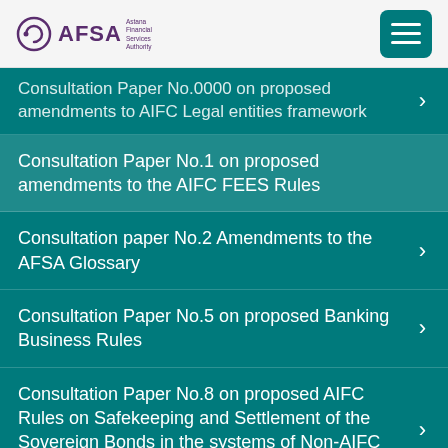AFSA
Consultation Paper No.0000 on proposed amendments to AIFC Legal entities framework
Consultation Paper No.1 on proposed amendments to the AIFC FEES Rules
Consultation paper No.2 Amendments to the AFSA Glossary
Consultation Paper No.5 on proposed Banking Business Rules
Consultation Paper No.8 on proposed AIFC Rules on Safekeeping and Settlement of the Sovereign Bonds in the systems of Non-AIFC Securities Depositaries